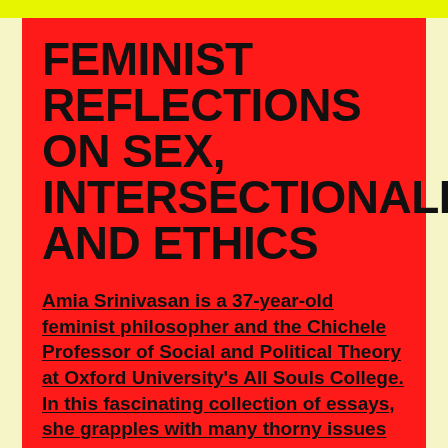FEMINIST REFLECTIONS ON SEX, INTERSECTIONALITY AND ETHICS
Amia Srinivasan is a 37-year-old feminist philosopher and the Chichele Professor of Social and Political Theory at Oxford University's All Souls College. In this fascinating collection of essays, she grapples with many thorny issues of sexuality that have challenged and